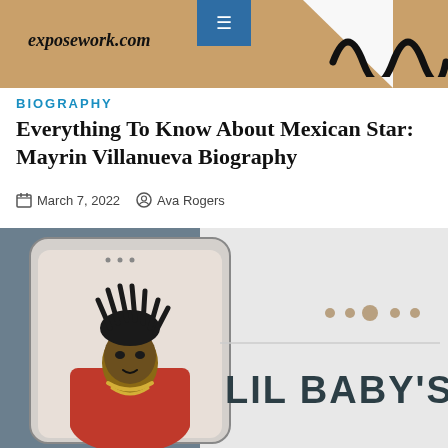exposework.com
BIOGRAPHY
Everything To Know About Mexican Star: Mayrin Villanueva Biography
March 7, 2022   Ava Rogers
[Figure (photo): A photo card showing Lil Baby (a young Black man wearing a red jacket and chain necklace with dreadlocks) displayed inside a phone/tablet frame on a gray background, with text reading 'LIL BABY'S' in bold dark letters on the right side]